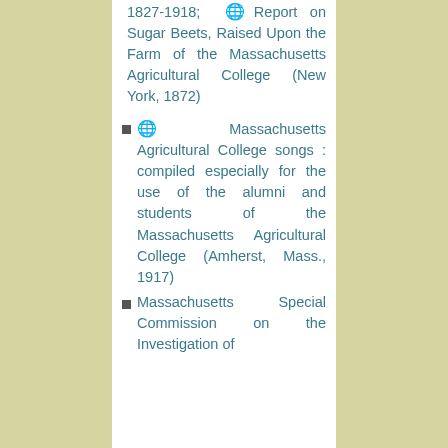🌐Report on Sugar Beets, Raised Upon the Farm of the Massachusetts Agricultural College (New York, 1872)
🌐Massachusetts Agricultural College songs : compiled especially for the use of the alumni and students of the Massachusetts Agricultural College (Amherst, Mass., 1917)
Massachusetts Special Commission on the Investigation of